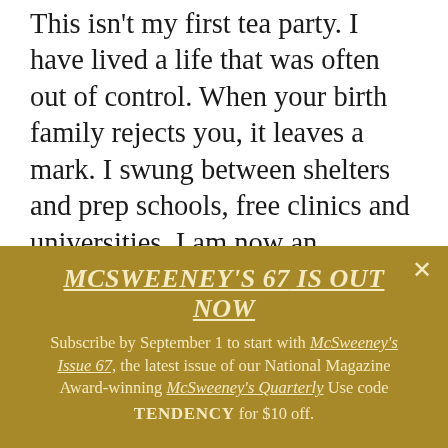This isn't my first tea party. I have lived a life that was often out of control. When your birth family rejects you, it leaves a mark. I swung between shelters and prep schools, free clinics and universities. I am now an accomplished data manager making full salary while working from home. A home I own. With a yard and a dog fence. I lock the doors at night, my daughter and me safe inside.
At 38, I married a man who was smart, had
[Figure (other): Promotional banner with gold/olive background. Heading: MCSWEENEY'S 67 IS OUT NOW. Body text: Subscribe by September 1 to start with McSweeney's Issue 67, the latest issue of our National Magazine Award-winning McSweeney's Quarterly Use code TENDENCY for $10 off. Close button X in top right.]